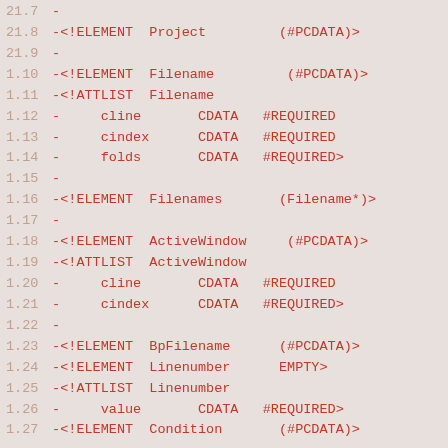21.7  -
21.8  -<!ELEMENT  Project         (#PCDATA)>
21.9  -
1.10  -<!ELEMENT  Filename         (#PCDATA)>
1.11  -<!ATTLIST  Filename
1.12  -     cline       CDATA   #REQUIRED
1.13  -     cindex      CDATA   #REQUIRED
1.14  -     folds       CDATA   #REQUIRED>
1.15  -
1.16  -<!ELEMENT  Filenames       (Filename*)>
1.17  -
1.18  -<!ELEMENT  ActiveWindow     (#PCDATA)>
1.19  -<!ATTLIST  ActiveWindow
1.20  -     cline       CDATA   #REQUIRED
1.21  -     cindex      CDATA   #REQUIRED>
1.22  -
1.23  -<!ELEMENT  BpFilename      (#PCDATA)>
1.24  -<!ELEMENT  Linenumber      EMPTY>
1.25  -<!ATTLIST  Linenumber
1.26  -     value       CDATA   #REQUIRED>
1.27  -<!ELEMENT  Condition       (#PCDATA)>